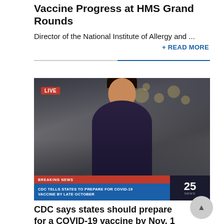Vaccine Progress at HMS Grand Rounds
Director of the National Institute of Allergy and ...
+ READ MORE
[Figure (screenshot): TV news screenshot showing a female reporter standing outside at night. A red LIVE badge is in the upper left. A breaking news chyron reads: 'CDC TELLS STATES TO PREPARE FOR COVID-19 VACCINE BY LATE OCTOBER'. Channel 25 bug is visible in the lower right.]
CDC says states should prepare for a COVID-19 vaccine by Nov. 1